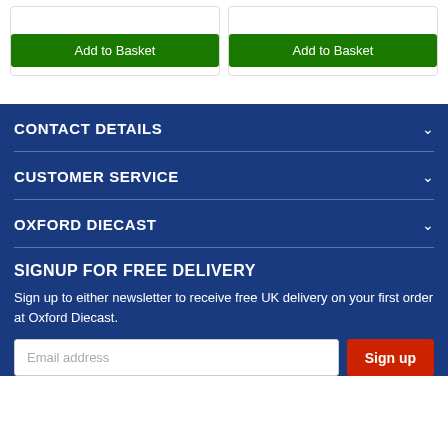Add to Basket
Add to Basket
CONTACT DETAILS
CUSTOMER SERVICE
OXFORD DIECAST
SIGNUP FOR FREE DELIVERY
Sign up to either newsletter to receive free UK delivery on your first order at Oxford Diecast.
Email address
Sign up